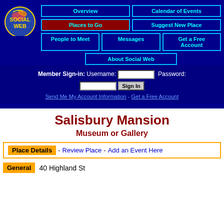[Figure (logo): Social Web logo - circular colorful icon with SOCIAL WEB text in yellow on dark blue background]
Overview
Calendar of Events
Places to Go
Suggest New Place
People to Meet
Messages
Get a Free Account
About Social Web
Member Sign-in: Username: [input] Password: [input] Sign In
Send Me My Account Information - Get a Free Account
Salisbury Mansion
Museum or Gallery
Place Details - Review Place - Add an Event Here
General 40 Highland St